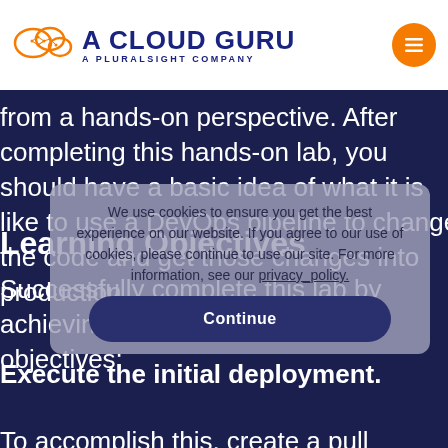A CLOUD GURU — A PLURALSIGHT COMPANY
from a hands-on perspective. After completing this hands-on lab, you should have a basic idea of what it is like to use a DevOps pipeline to change the code and get those changes into production.
Learning Objectives
Successfully complete this lab by achieving the following learning objectives:
Execute the initial deployment.
To accomplish this, create a pull request from the "new-
We use cookies to ensure you get the best experience on our website. If you agree to our use of cookies, please continue to use our site. For more information, see our privacy_policy.